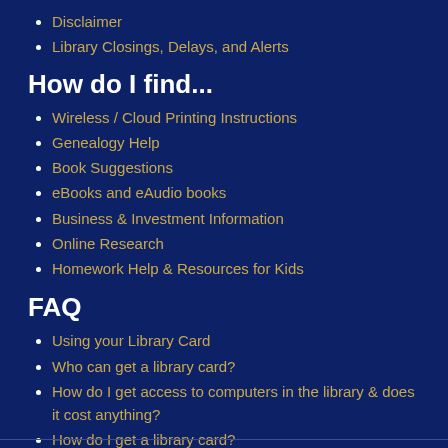Disclaimer
Library Closings, Delays, and Alerts
How do I find...
Wireless / Cloud Printing Instructions
Genealogy Help
Book Suggestions
eBooks and eAudio books
Business & Investment Information
Online Research
Homework Help & Resources for Kids
FAQ
Using your Library Card
Who can get a library card?
How do I get access to computers in the library & does it cost anything?
How do I get a library card?